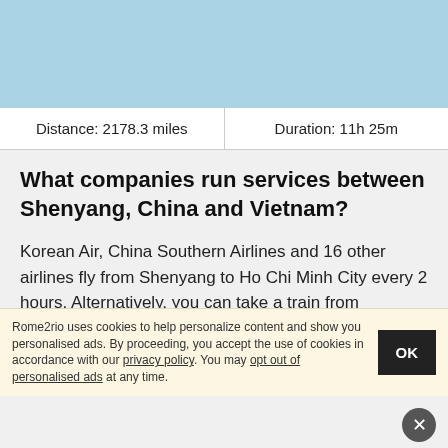[Figure (other): Light blue header banner area]
| Distance | Duration |
| --- | --- |
| Distance: 2178.3 miles | Duration: 11h 25m |
What companies run services between Shenyang, China and Vietnam?
Korean Air, China Southern Airlines and 16 other airlines fly from Shenyang to Ho Chi Minh City every 2 hours. Alternatively, you can take a train from Shenyang to Ho Chi Minh City via Tianjin West Station, Guangzhou South, Nanning, Hanoi Gia Lam Station, Gia Lam, and Hanoi in
Rome2rio uses cookies to help personalize content and show you personalised ads. By proceeding, you accept the use of cookies in accordance with our privacy policy. You may opt out of personalised ads at any time.